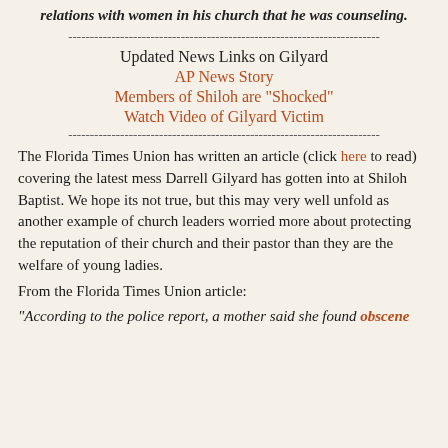relations with women in his church that he was counseling.
------------------------------------------------------------------------
Updated News Links on Gilyard
AP News Story
Members of Shiloh are "Shocked"
Watch Video of Gilyard Victim
------------------------------------------------------------------------
The Florida Times Union has written an article (click here to read) covering the latest mess Darrell Gilyard has gotten into at Shiloh Baptist. We hope its not true, but this may very well unfold as another example of church leaders worried more about protecting the reputation of their church and their pastor than they are the welfare of young ladies.
From the Florida Times Union article:
"According to the police report, a mother said she found obscene